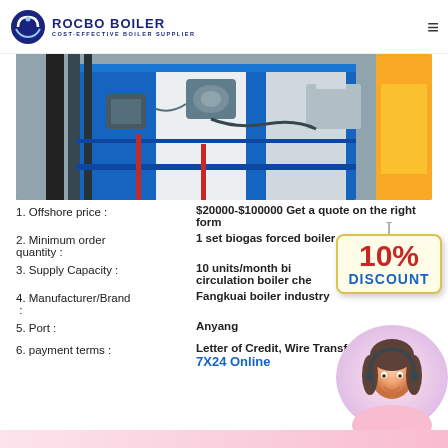[Figure (logo): Rocbo Boiler logo with circular swirl emblem and text 'ROCBO BOILER - COST-EFFECTIVE BOILER SUPPLIER']
[Figure (photo): Industrial boiler equipment photograph showing blue and white machinery with pipes and components]
1. Offshore price : $20000-$100000 Get a quote on the right form
2. Minimum order quantity : 1 set biogas forced boiler chemical industry
3. Supply Capacity : 10 units/month biogas circulation boiler chemical industry
4. Manufacturer/Brand : Fangkuai boiler industry
5. Port : Anyang
[Figure (infographic): 10% DISCOUNT promotional badge sign]
[Figure (photo): Customer support representative wearing headset]
6. payment terms : Letter of Credit, Wire Transfer, 7X24 Online